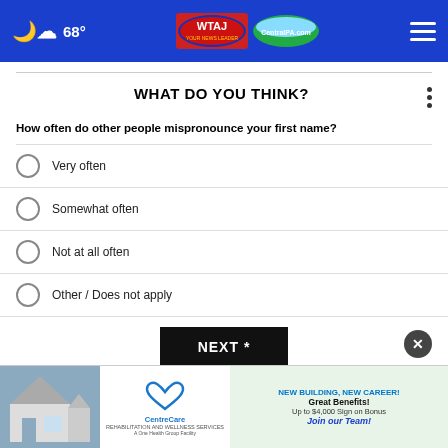68° | WTAJ CentralPA.com
WHAT DO YOU THINK?
How often do other people mispronounce your first name?
Very often
Somewhat often
Not at all often
Other / Does not apply
NEXT *
* By clicking "NEXT" you agree to the following: We use cookies ... your survey answers. If you would like to continue with this survey ... please read ...
[Figure (advertisement): CentreCare rehabilitation and wellness services advertisement with heart logo]